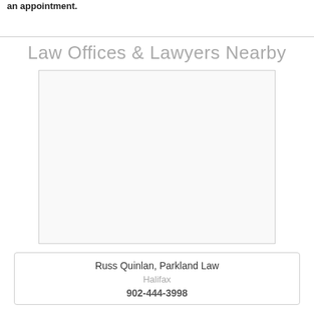an appointment.
Law Offices & Lawyers Nearby
[Figure (map): Map placeholder showing law offices nearby]
Russ Quinlan, Parkland Law
Halifax
902-444-3998